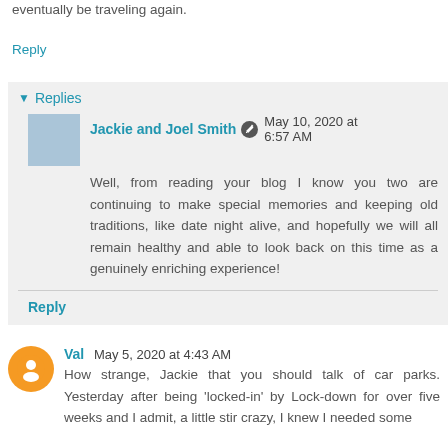eventually be traveling again.
Reply
Replies
Jackie and Joel Smith  May 10, 2020 at 6:57 AM
Well, from reading your blog I know you two are continuing to make special memories and keeping old traditions, like date night alive, and hopefully we will all remain healthy and able to look back on this time as a genuinely enriching experience!
Reply
Val  May 5, 2020 at 4:43 AM
How strange, Jackie that you should talk of car parks. Yesterday after being 'locked-in' by Lock-down for over five weeks and I admit, a little stir crazy, I knew I needed some